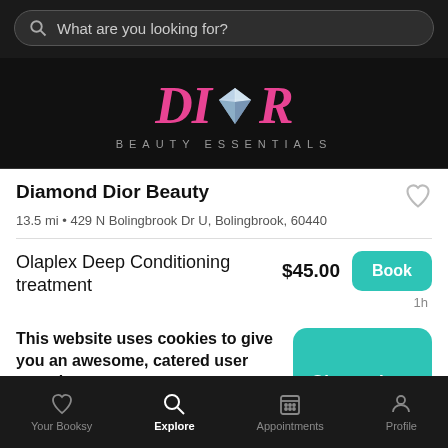What are you looking for?
[Figure (logo): Diamond Dior Beauty Essentials logo — pink italic DIOR text with a diamond gemstone graphic in place of the O, and BEAUTY ESSENTIALS in silver spaced letters below, on black background]
Diamond Dior Beauty
13.5 mi • 429 N Bolingbrook Dr U, Bolingbrook, 60440
Olaplex Deep Conditioning treatment
$45.00
1h
This website uses cookies to give you an awesome, catered user experience.
Continuing on after seeing this message means that you're cool with that.
Your Booksy   Explore   Appointments   Profile